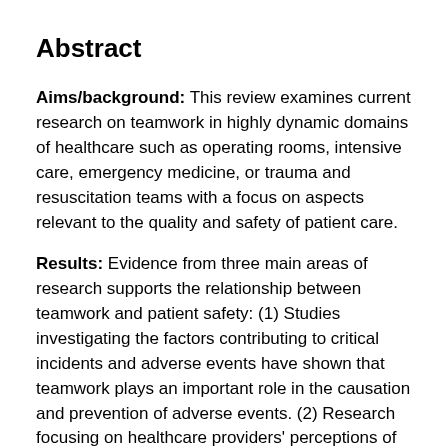Abstract
Aims/background: This review examines current research on teamwork in highly dynamic domains of healthcare such as operating rooms, intensive care, emergency medicine, or trauma and resuscitation teams with a focus on aspects relevant to the quality and safety of patient care.
Results: Evidence from three main areas of research supports the relationship between teamwork and patient safety: (1) Studies investigating the factors contributing to critical incidents and adverse events have shown that teamwork plays an important role in the causation and prevention of adverse events. (2) Research focusing on healthcare providers' perceptions of teamwork demonstrated that (a) staff's perceptions of teamwork and attitudes toward safety-relevant team behavior were related to the quality and safety of patient care and (b)